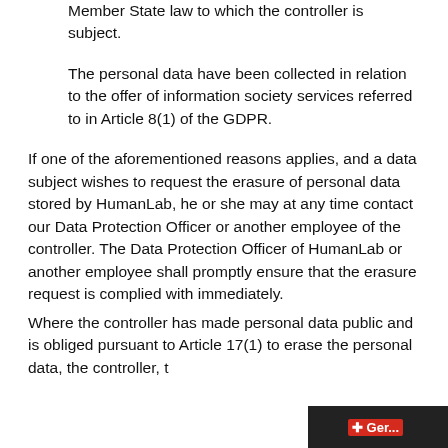Member State law to which the controller is subject.
The personal data have been collected in relation to the offer of information society services referred to in Article 8(1) of the GDPR.
If one of the aforementioned reasons applies, and a data subject wishes to request the erasure of personal data stored by HumanLab, he or she may at any time contact our Data Protection Officer or another employee of the controller. The Data Protection Officer of HumanLab or another employee shall promptly ensure that the erasure request is complied with immediately.
Where the controller has made personal data public and is obliged pursuant to Article 17(1) to erase the personal data, the controller, t...